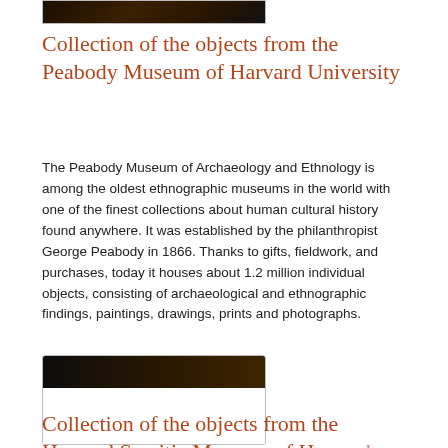[Figure (photo): Top portion of an artifact image, dark background with reddish-brown object, partially cropped]
Collection of the objects from the Peabody Museum of Harvard University
The Peabody Museum of Archaeology and Ethnology is among the oldest ethnographic museums in the world with one of the finest collections about human cultural history found anywhere. It was established by the philanthropist George Peabody in 1866. Thanks to gifts, fieldwork, and purchases, today it houses about 1.2 million individual objects, consisting of archaeological and ethnographic findings, paintings, drawings, prints and photographs.
[Figure (photo): Image of an artifact on dark background, partially visible at top, rest of frame is white/empty]
Collection of the objects from the Harvard Semitic Museum of Harvard